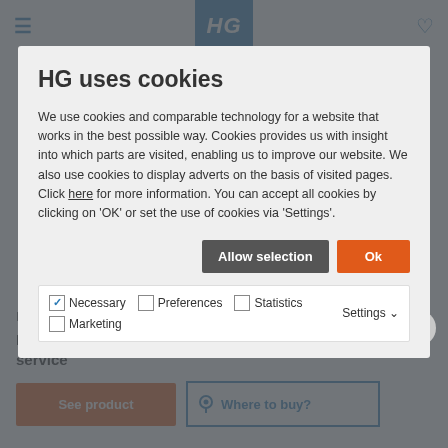HG (logo/navigation header)
HG uses cookies
We use cookies and comparable technology for a website that works in the best possible way. Cookies provides us with insight into which parts are visited, enabling us to improve our website. We also use cookies to display adverts on the basis of visited pages. Click here for more information. You can accept all cookies by clicking on 'OK' or set the use of cookies via 'Settings'.
Allow selection | Ok
Necessary  Preferences  Statistics  Marketing  Settings
Recommended product
HG washing machine and dishwasher deep clean and service
See product  Where to buy?